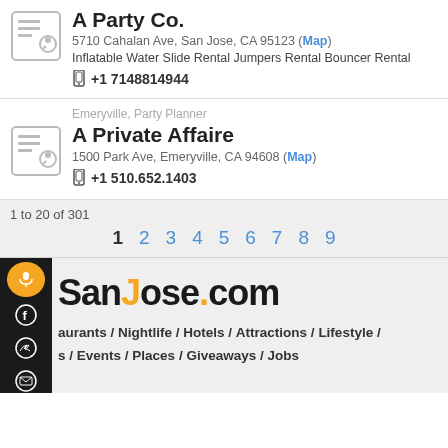A Party Co. — 5710 Cahalan Ave, San Jose, CA 95123 (Map) — Inflatable Water Slide Rental Jumpers Rental Bouncer Rental — +1 7148814944
Emeryville, Party Planner — A Private Affaire — 1500 Park Ave, Emeryville, CA 94608 (Map) — +1 510.652.1403
1 to 20 of 301
1  2  3  4  5  6  7  8  9
[Figure (logo): SanJose.com logo with orange dot]
aurants / Nightlife / Hotels / Attractions / Lifestyle / s / Events / Places / Giveaways / Jobs